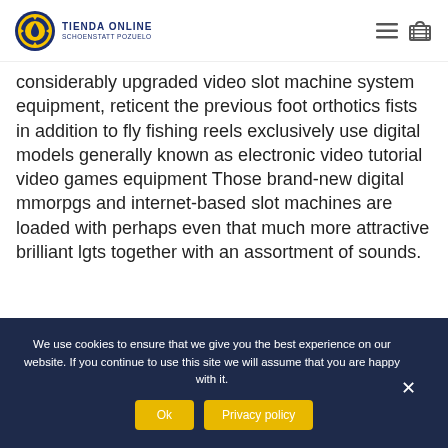TIENDA ONLINE SCHOENSTATT POZUELO
considerably upgraded video slot machine system equipment, reticent the previous foot orthotics fists in addition to fly fishing reels exclusively use digital models generally known as electronic video tutorial video games equipment Those brand-new digital mmorpgs and internet-based slot machines are loaded with perhaps even that much more attractive brilliant lgts together with an assortment of sounds.
We use cookies to ensure that we give you the best experience on our website. If you continue to use this site we will assume that you are happy with it.